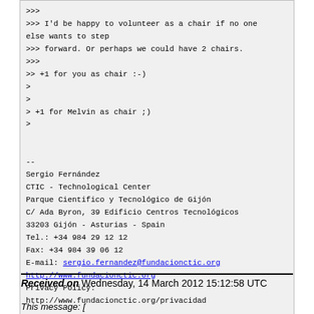>>>
>>> I'd be happy to volunteer as a chair if no one else wants to step
>>> forward. Or perhaps we could have 2 chairs.
>>>
>> +1 for you as chair :-)
>
>
> +1 for Melvin as chair ;)
>

--
Sergio Fernández
CTIC - Technological Center
Parque Cientifico y Tecnológico de Gijón
C/ Ada Byron, 39 Edificio Centros Tecnológicos
33203 Gijón - Asturias - Spain
Tel.: +34 984 29 12 12
Fax: +34 984 39 06 12
E-mail: sergio.fernandez@fundacionctic.org
http://www.fundacionctic.org
Privacy Policy:
http://www.fundacionctic.org/privacidad
Received on Wednesday, 14 March 2012 15:12:58 UTC
This message: [